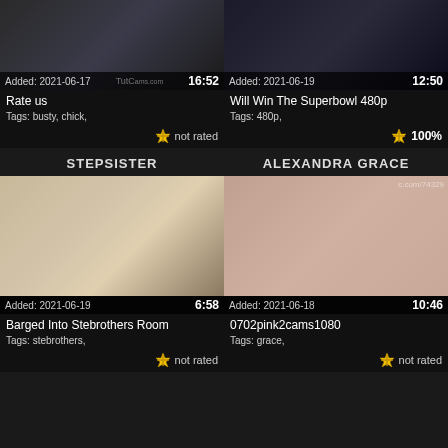[Figure (photo): Video thumbnail top left - dark scene, Added: 2021-06-17, duration 16:52, title Rate us, tags busty chick, not rated]
[Figure (photo): Video thumbnail top right - dark scene, Added: 2021-06-19, duration 12:50, title Will Win The Superbowl 480p, tags 480p, 100%]
STEPSISTER
ALEXANDRA GRACE
[Figure (photo): Video thumbnail bottom left - blonde woman, Added: 2021-06-19, duration 6:58, title Barged Into Stebrothers Room, tags stebrothers, not rated]
[Figure (photo): Video thumbnail bottom right - close up skin, Added: 2021-06-18, duration 10:46, title 0702pink2cams1080, tags grace, not rated]